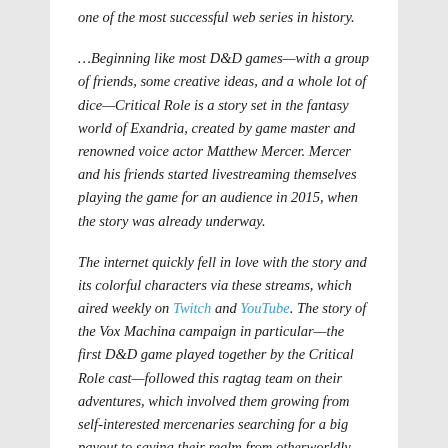one of the most successful web series in history.

…Beginning like most D&D games—with a group of friends, some creative ideas, and a whole lot of dice—Critical Role is a story set in the fantasy world of Exandria, created by game master and renowned voice actor Matthew Mercer. Mercer and his friends started livestreaming themselves playing the game for an audience in 2015, when the story was already underway.

The internet quickly fell in love with the story and its colorful characters via these streams, which aired weekly on Twitch and YouTube. The story of the Vox Machina campaign in particular—the first D&D game played together by the Critical Role cast—followed this ragtag team on their adventures, which involved them growing from self-interested mercenaries searching for a big payout to saving their realm from otherworldly dangers, with plenty of other